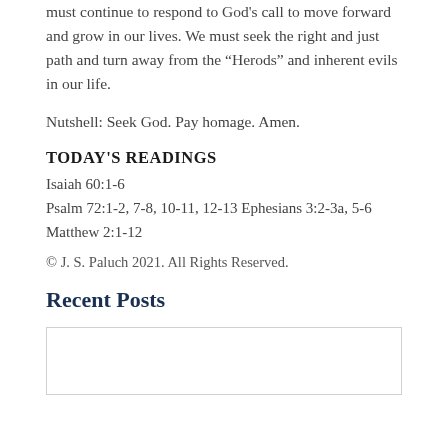must continue to respond to God's call to move forward and grow in our lives. We must seek the right and just path and turn away from the “Herods” and inherent evils in our life.
Nutshell: Seek God. Pay homage. Amen.
TODAY'S READINGS
Isaiah 60:1-6
Psalm 72:1-2, 7-8, 10-11, 12-13 Ephesians 3:2-3a, 5-6
Matthew 2:1-12
© J. S. Paluch 2021. All Rights Reserved.
Recent Posts
[Figure (other): Empty white box placeholder for recent post image]